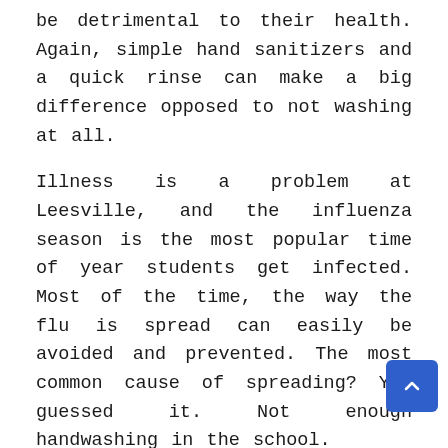be detrimental to their health. Again, simple hand sanitizers and a quick rinse can make a big difference opposed to not washing at all.
Illness is a problem at Leesville, and the influenza season is the most popular time of year students get infected. Most of the time, the way the flu is spread can easily be avoided and prevented. The most common cause of spreading? You guessed it. Not enough handwashing in the school.